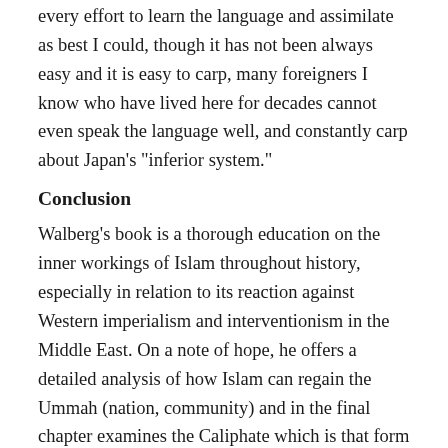every effort to learn the language and assimilate as best I could, though it has not been always easy and it is easy to carp, many foreigners I know who have lived here for decades cannot even speak the language well, and constantly carp about Japan's “inferior system.”
Conclusion
Walberg’s book is a thorough education on the inner workings of Islam throughout history, especially in relation to its reaction against Western imperialism and interventionism in the Middle East. On a note of hope, he offers a detailed analysis of how Islam can regain the Ummah (nation, community) and in the final chapter examines the Caliphate which is that form of government where the nation’s leader is “considered a political and religious successor to the prophet Muhammad” (7). Walberg’s book is essential reading for anyone who wants to go beyond the mainstream pablum of Western propaganda in order